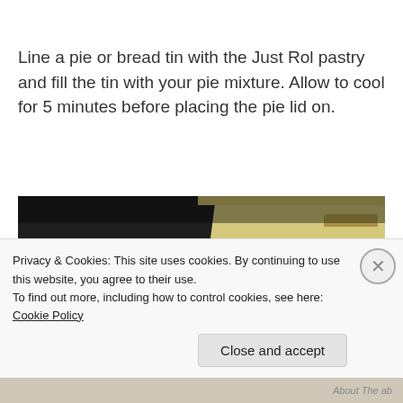Line a pie or bread tin with the Just Rol pastry and fill the tin with your pie mixture. Allow to cool for 5 minutes before placing the pie lid on.
[Figure (photo): Close-up photo of pie filling (dark, caramelized meat mixture) in a pastry-lined tin, with rolled pastry sheet visible to the right on a dark surface.]
Privacy & Cookies: This site uses cookies. By continuing to use this website, you agree to their use.
To find out more, including how to control cookies, see here: Cookie Policy
Close and accept
About The ab